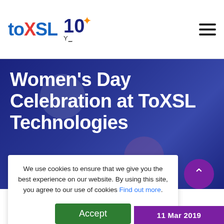ToXSL Technologies — 10 Years
Women's Day Celebration at ToXSL Technologies
Home > Blog > Blog Detail
We use cookies to ensure that we give you the best experience on our website. By using this site, you agree to our use of cookies Find out more.
Accept
11 Mar 2019